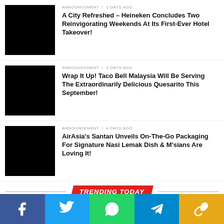ANNOUNCEMENT / 2 days ago
A City Refreshed – Heineken Concludes Two Reinvigorating Weekends At Its First-Ever Hotel Takeover!
ANNOUNCEMENT / 3 days ago
Wrap It Up! Taco Bell Malaysia Will Be Serving The Extraordinarily Delicious Quesarito This September!
ANNOUNCEMENT / 4 days ago
AirAsia's Santan Unveils On-The-Go Packaging For Signature Nasi Lemak Dish & M'sians Are Loving It!
TRENDING TODAY
SOCIAL STORIES / 14 hours ago
Famed Malaysian Nephrologist Shares Scam Story On How She